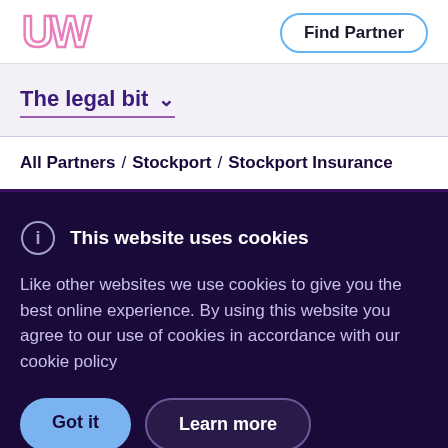[Figure (logo): UW logo in pink cursive style letters]
Find Partner
The legal bit
All Partners / Stockport / Stockport Insurance
This website uses cookies
Like other websites we use cookies to give you the best online experience. By using this website you agree to our use of cookies in accordance with our cookie policy
Got it
Learn more